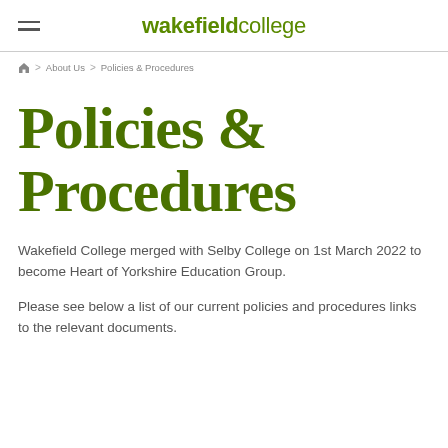wakefield college
Home > About Us > Policies & Procedures
Policies & Procedures
Wakefield College merged with Selby College on 1st March 2022 to become Heart of Yorkshire Education Group.
Please see below a list of our current policies and procedures links to the relevant documents.